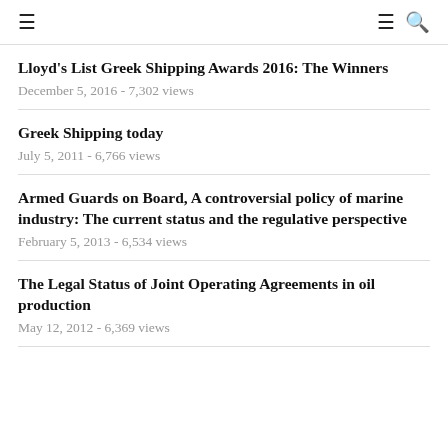≡  ≡ 🔍
Lloyd's List Greek Shipping Awards 2016: The Winners
December 5, 2016 - 7,302 views
Greek Shipping today
July 5, 2011 - 6,766 views
Armed Guards on Board, A controversial policy of marine industry: The current status and the regulative perspective
February 5, 2013 - 6,534 views
The Legal Status of Joint Operating Agreements in oil production
May 12, 2012 - 6,369 views